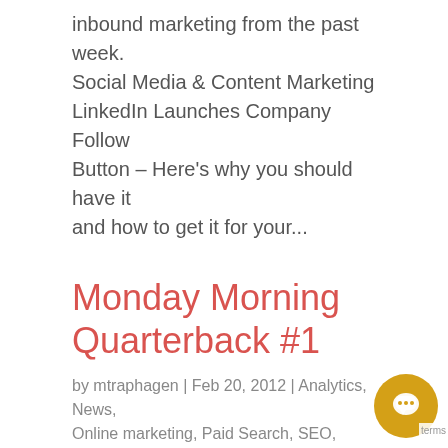inbound marketing from the past week. Social Media & Content Marketing LinkedIn Launches Company Follow Button – Here's why you should have it and how to get it for your...
Monday Morning Quarterback #1
by mtraphagen | Feb 20, 2012 | Analytics, News, Online marketing, Paid Search, SEO, Social Media
A weekly roundup of the most interesting